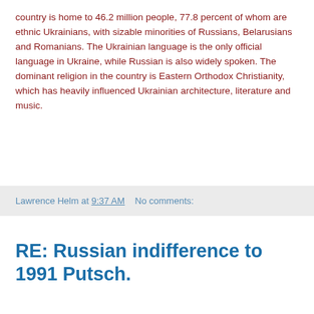country is home to 46.2 million people, 77.8 percent of whom are ethnic Ukrainians, with sizable minorities of Russians, Belarusians and Romanians. The Ukrainian language is the only official language in Ukraine, while Russian is also widely spoken. The dominant religion in the country is Eastern Orthodox Christianity, which has heavily influenced Ukrainian architecture, literature and music.
Lawrence Helm at 9:37 AM    No comments:
RE: Russian indifference to 1991 Putsch.
Michael Kuznetsov posted the following comment in regard to http://www.lawrencehelm.com/2009/08/russian-indifference-to-1991-putsch.html, "Russian indifference to 1991 Putsch":
Lawrence:
I suppose you might be rather surprised to learn that I personally was a